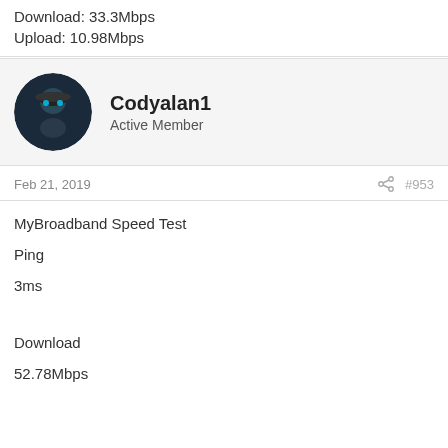Download: 33.3Mbps
Upload: 10.98Mbps
Codyalan1
Active Member
Feb 21, 2019
#953
MyBroadband Speed Test
Ping
3ms
Download
52.78Mbps